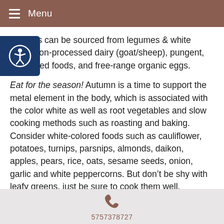Menu
Proteins can be sourced from legumes & white meat, non-processed dairy (goat/sheep), pungent, fermented foods, and free-range organic eggs.
Eat for the season! Autumn is a time to support the metal element in the body, which is associated with the color white as well as root vegetables and slow cooking methods such as roasting and baking. Consider white-colored foods such as cauliflower, potatoes, turnips, parsnips, almonds, daikon, apples, pears, rice, oats, sesame seeds, onion, garlic and white peppercorns. But don’t be shy with leafy greens, just be sure to cook them well.
5757378727